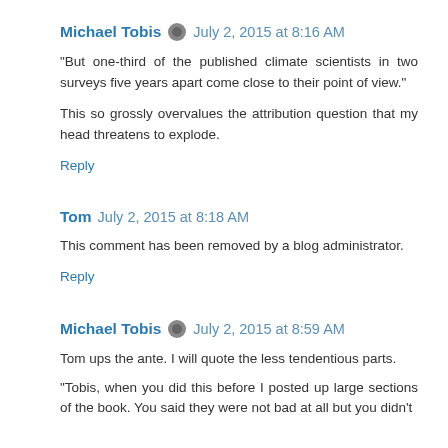Michael Tobis  July 2, 2015 at 8:16 AM
"But one-third of the published climate scientists in two surveys five years apart come close to their point of view."
This so grossly overvalues the attribution question that my head threatens to explode.
Reply
Tom  July 2, 2015 at 8:18 AM
This comment has been removed by a blog administrator.
Reply
Michael Tobis  July 2, 2015 at 8:59 AM
Tom ups the ante. I will quote the less tendentious parts.
"Tobis, when you did this before I posted up large sections of the book. You said they were not bad at all but you didn't